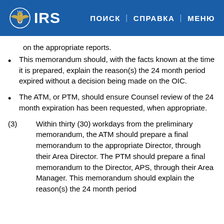IRS | ПОИСК | СПРАВКА | МЕНЮ
on the appropriate reports.
This memorandum should, with the facts known at the time it is prepared, explain the reason(s) the 24 month period expired without a decision being made on the OIC.
The ATM, or PTM, should ensure Counsel review of the 24 month expiration has been requested, when appropriate.
(3) Within thirty (30) workdays from the preliminary memorandum, the ATM should prepare a final memorandum to the appropriate Director, through their Area Director. The PTM should prepare a final memorandum to the Director, APS, through their Area Manager. This memorandum should explain the reason(s) the 24 month period